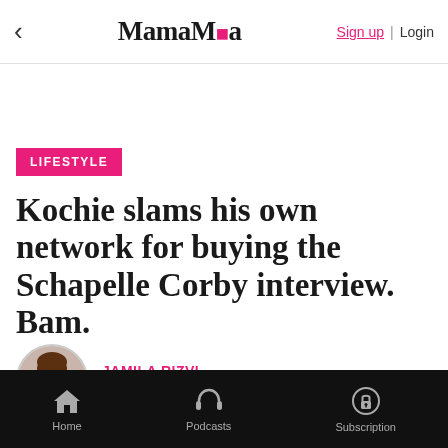MamaMia — Sign up | Login
LIFESTYLE
Kochie slams his own network for buying the Schapelle Corby interview. Bam.
JAMILA RIZVI
FEBRUARY 11, 2014
Home | Podcasts | Subscription